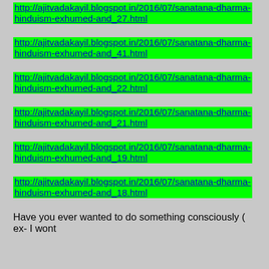http://ajitvadakayil.blogspot.in/2016/07/sanatana-dharma-hinduism-exhumed-and_27.html
http://ajitvadakayil.blogspot.in/2016/07/sanatana-dharma-hinduism-exhumed-and_41.html
http://ajitvadakayil.blogspot.in/2016/07/sanatana-dharma-hinduism-exhumed-and_22.html
http://ajitvadakayil.blogspot.in/2016/07/sanatana-dharma-hinduism-exhumed-and_21.html
http://ajitvadakayil.blogspot.in/2016/07/sanatana-dharma-hinduism-exhumed-and_19.html
http://ajitvadakayil.blogspot.in/2016/07/sanatana-dharma-hinduism-exhumed-and_18.html
Have you ever wanted to do something consciously ( ex- I wont